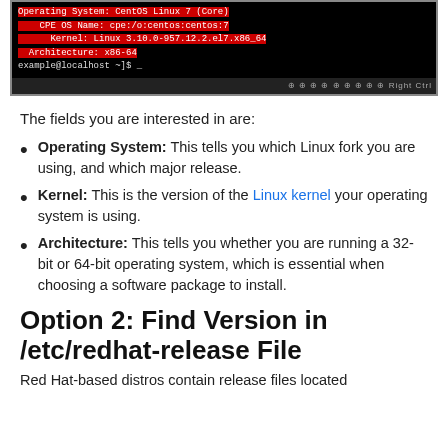[Figure (screenshot): Terminal screenshot showing OS info: Operating System: CentOS Linux 7 (Core), CPE OS Name: cpe:/o:centos:centos:7, Kernel: Linux 3.10.0-957.12.2.el7.x86_64, Architecture: x86_64, with red highlight box around entries. Bottom toolbar visible.]
The fields you are interested in are:
Operating System: This tells you which Linux fork you are using, and which major release.
Kernel: This is the version of the Linux kernel your operating system is using.
Architecture: This tells you whether you are running a 32-bit or 64-bit operating system, which is essential when choosing a software package to install.
Option 2: Find Version in /etc/redhat-release File
Red Hat-based distros contain release files located